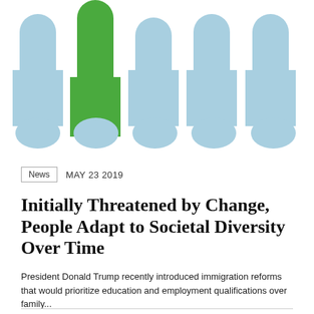[Figure (illustration): Stylized illustration of people represented as blue pin/person shapes in a row, with one green figure standing out among them. Below, five blue semicircle shapes representing heads.]
News  MAY 23 2019
Initially Threatened by Change, People Adapt to Societal Diversity Over Time
President Donald Trump recently introduced immigration reforms that would prioritize education and employment qualifications over family...
[Figure (illustration): Decorative blue illustrated banner or signature at the bottom of the page.]